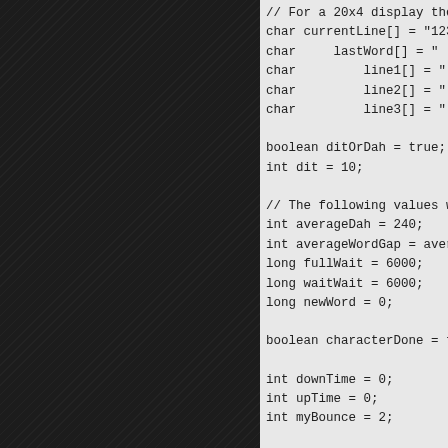[Figure (other): Dark textured left panel of a two-panel code viewer layout]
// For a 20x4 display these are a
char currentLine[] = "12345678901
char     lastWord[] = "
char         line1[] = "
char         line2[] = "
char         line3[] = "

boolean ditOrDah = true;  // We h
int dit = 10;             // We s

// The following values will auto
int averageDah = 240;
int averageWordGap = averageDah;
long fullWait = 6000;
long waitWait = 6000;
long newWord = 0;

boolean characterDone = true; //

int downTime = 0;         // How l
int upTime = 0;           // How l
int myBounce = 2;         // Used

long startDownTime = 0;  // Ardui
long startUpTime = 0;    // Ardui